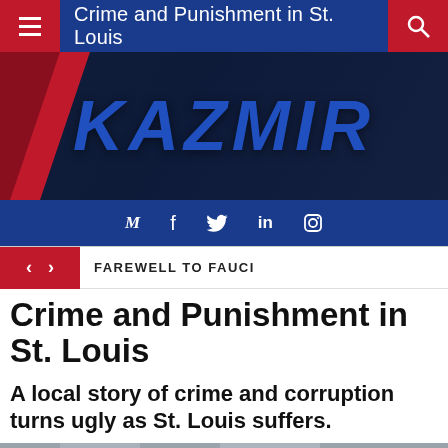Crime and Punishment in St. Louis
[Figure (logo): KAZMIR logo banner with red diagonal stripe on dark blue background]
M f in (social icons)
FAREWELL TO FAUCI
Crime and Punishment in St. Louis
A local story of crime and corruption turns ugly as St. Louis suffers.
[Figure (photo): Bottom portion of a black and white photo of a building exterior]